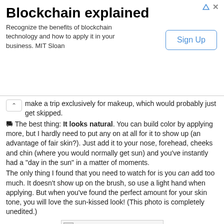[Figure (screenshot): Advertisement banner for 'Blockchain explained' with Sign Up button, MIT Sloan, showing arrow and close icons at top right.]
make a trip exclusively for makeup, which would probably just get skipped.
⚓ The best thing: It looks natural. You can build color by applying more, but I hardly need to put any on at all for it to show up (an advantage of fair skin?). Just add it to your nose, forehead, cheeks and chin (where you would normally get sun) and you've instantly had a "day in the sun" in a matter of moments.
The only thing I found that you need to watch for is you can add too much. It doesn't show up on the brush, so use a light hand when applying. But when you've found the perfect amount for your skin tone, you will love the sun-kissed look! (This photo is completely unedited.)
[Figure (photo): A photo placeholder shown as a box with a broken image icon at top left.]